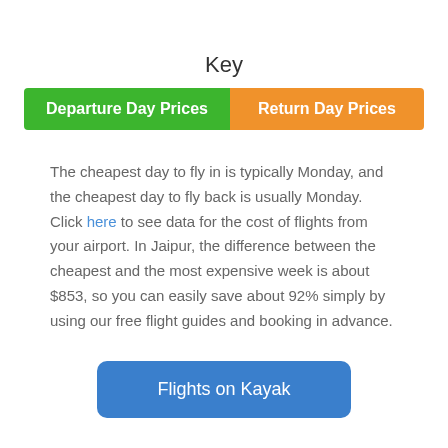Key
[Figure (infographic): Two colored legend buttons: green 'Departure Day Prices' and orange 'Return Day Prices']
The cheapest day to fly in is typically Monday, and the cheapest day to fly back is usually Monday. Click here to see data for the cost of flights from your airport. In Jaipur, the difference between the cheapest and the most expensive week is about $853, so you can easily save about 92% simply by using our free flight guides and booking in advance.
Flights on Kayak